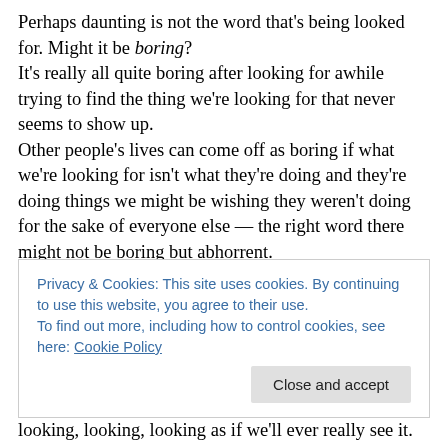Perhaps daunting is not the word that's being looked for. Might it be boring? It's really all quite boring after looking for awhile trying to find the thing we're looking for that never seems to show up. Other people's lives can come off as boring if what we're looking for isn't what they're doing and they're doing things we might be wishing they weren't doing for the sake of everyone else — the right word there might not be boring but abhorrent. Maybe we're all really looking just to keep from really
Privacy & Cookies: This site uses cookies. By continuing to use this website, you agree to their use. To find out more, including how to control cookies, see here: Cookie Policy
looking, looking, looking as if we'll ever really see it.